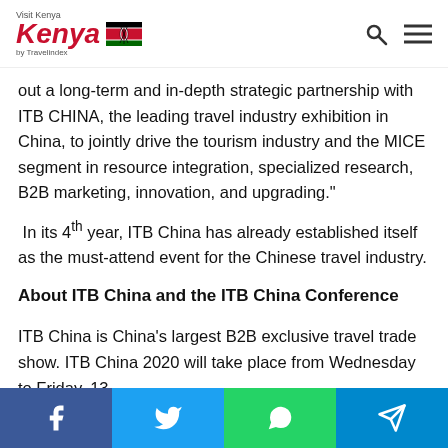Visit Kenya by Travelindex
out a long-term and in-depth strategic partnership with ITB CHINA, the leading travel industry exhibition in China, to jointly drive the tourism industry and the MICE segment in resource integration, specialized research, B2B marketing, innovation, and upgrading."
In its 4th year, ITB China has already established itself as the must-attend event for the Chinese travel industry.
About ITB China and the ITB China Conference
ITB China is China's largest B2B exclusive travel trade show. ITB China 2020 will take place from Wednesday to Friday, 13